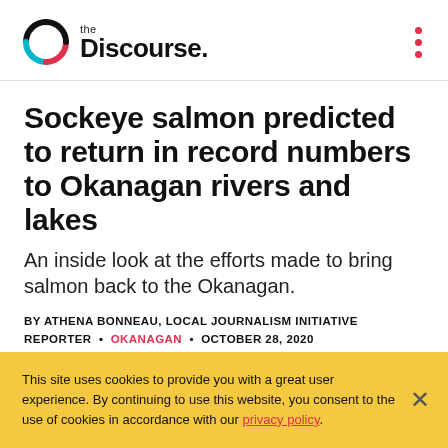the Discourse.
Sockeye salmon predicted to return in record numbers to Okanagan rivers and lakes
An inside look at the efforts made to bring salmon back to the Okanagan.
BY ATHENA BONNEAU, LOCAL JOURNALISM INITIATIVE REPORTER • OKANAGAN • OCTOBER 28, 2020
This site uses cookies to provide you with a great user experience. By continuing to use this website, you consent to the use of cookies in accordance with our privacy policy.